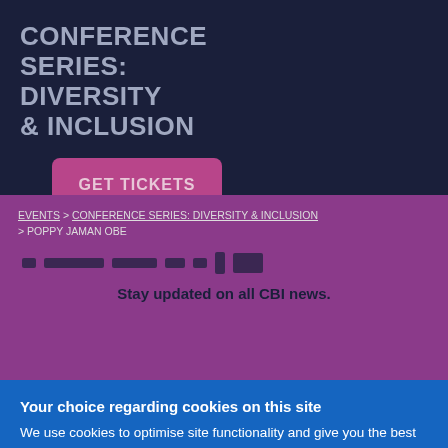CONFERENCE SERIES: DIVERSITY & INCLUSION
GET TICKETS
30 November - 1 December Online
EVENTS > CONFERENCE SERIES: DIVERSITY & INCLUSION > POPPY JAMAN OBE
Stay updated on all CBI news.
Your choice regarding cookies on this site
We use cookies to optimise site functionality and give you the best possible experience.
I Accept Cookies
Settings